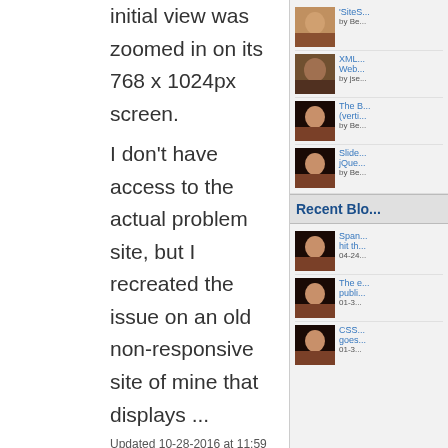initial view was zoomed in on its 768 x 1024px screen.
I don't have access to the actual problem site, but I recreated the issue on an old non-responsive site of mine that displays ...
Updated 10-28-2016 at 11:59 AM by Beverleyh
Tags: 1zqjaw"(){};<x>:/1zqjaw;9, matchmedia, metatag, responsive, rwd, viewport
Categories: JavaScript & Ajax , Web Design issues
0 Comments
Read More ➡
RWD Cross-Fade Slideshow with Retina Images
'SiteS... by Be...
XML... Web... by jse...
The B... (verti... by Be...
Slide... jQue... by Be...
Recent Blo...
Span... hit th... 04-24...
The e... publi... 01-3...
CSS... goes... 01-3...